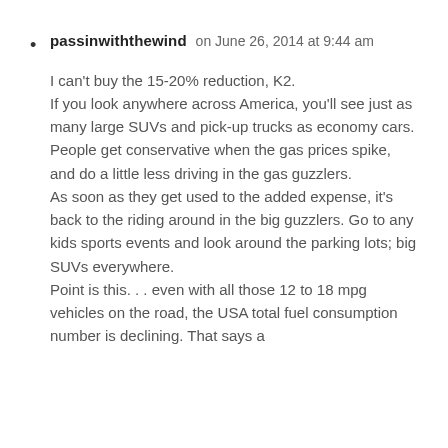passinwiththewind on June 26, 2014 at 9:44 am
I can't buy the 15-20% reduction, K2.
If you look anywhere across America, you'll see just as many large SUVs and pick-up trucks as economy cars.
People get conservative when the gas prices spike, and do a little less driving in the gas guzzlers.
As soon as they get used to the added expense, it's back to the riding around in the big guzzlers. Go to any kids sports events and look around the parking lots; big SUVs everywhere.
Point is this. . . even with all those 12 to 18 mpg vehicles on the road, the USA total fuel consumption number is declining. That says a